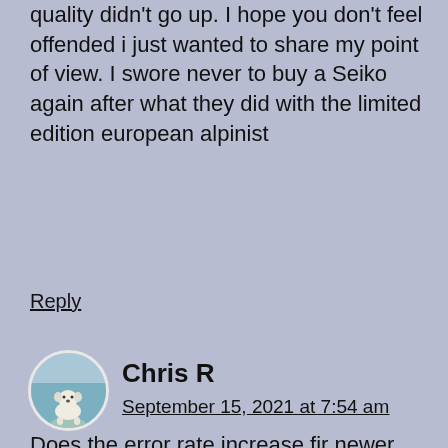quality didn't go up. I hope you don't feel offended i just wanted to share my point of view. I swore never to buy a Seiko again after what they did with the limited edition european alpinist
Reply
Chris R
September 15, 2021 at 7:54 am
[Figure (photo): Circular avatar photo of a small dog (likely a polar bear puppy or white dog) sitting on a teal/blue surface]
Does the error rate increase fir newer watches? I note that the vintage ones all